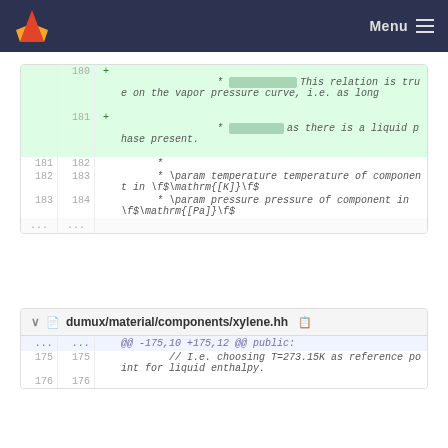GitLab — Menu
| old | new | sign | code |
| --- | --- | --- | --- |
|  | 180 | + | * [redacted] This relation is true on the vapor pressure curve, i.e. as long |
|  | 181 | + | * [redacted] as there is a liquid phase present. |
| 181 | 182 |  | * |
| 182 | 183 |  | * \param temperature temperature of component in \f$\mathrm{[K]}\f$ |
| 183 | 184 |  | * \param pressure pressure of component in \f$\mathrm{[Pa]}\f$ |
| ... | ... |  |  |
dumux/material/components/xylene.hh
| old | new | sign | code |
| --- | --- | --- | --- |
| ... | ... |  | @@ -175,10 +175,12 @@ public: |
| 175 | 175 |  | // I.e. choosing T=273.15K as reference point for liquid enthalpy. |
| 176 | 176 |  |  |